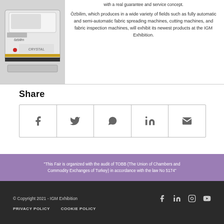[Figure (photo): Özbilim fabric spreading/cutting machine with CRYSTAL branding shown in the top-left area]
with a real guarantee and service concept.
Özbilim, which produces in a wide variety of fields such as fully automatic and semi-automatic fabric spreading machines, cutting machines, and fabric inspection machines, will exhibit its newest products at the IGM Exhibition.
Share
[Figure (infographic): Share icons row: Facebook, Twitter, WhatsApp, LinkedIn, Email]
"This Fair is organized with the audit of TOBB (The Union of Chambers and Commodity Exchanges of Turkey) in accordance with the law No 5174"
© Copyright 2021 - IGM Exhibition
PRIVACY POLICY    COOKIE POLICY